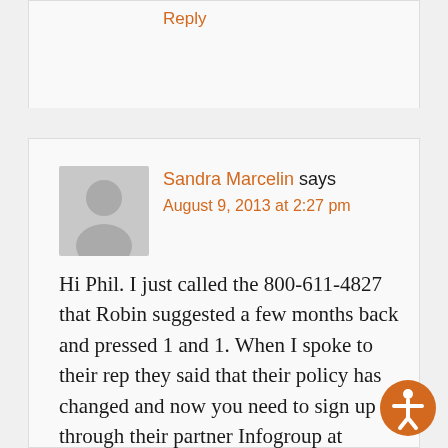Reply
Sandra Marcelin says
August 9, 2013 at 2:27 pm
Hi Phil. I just called the 800-611-4827 that Robin suggested a few months back and pressed 1 and 1. When I spoke to their rep they said that their policy has changed and now you need to sign up through their partner Infogroup at ExpressUpdateUSA.com. Not sure how long it would take for the listing to